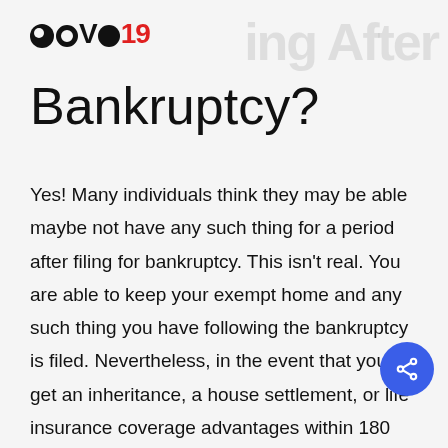COVID19
Bankruptcy?
Yes! Many individuals think they may be able maybe not have any such thing for a period after filing for bankruptcy. This isn't real. You are able to keep your exempt home and any such thing you have following the bankruptcy is filed. Nevertheless, in the event that you get an inheritance, a house settlement, or life insurance coverage advantages within 180 times after filing for bankruptcy, that money or property may need to be compensated to your creditors in the